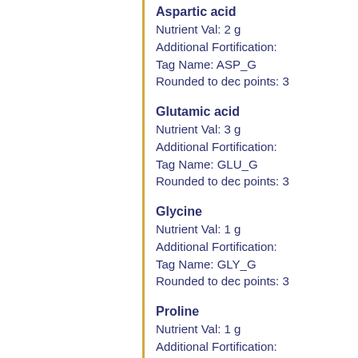Aspartic acid
Nutrient Val: 2 g
Additional Fortification:
Tag Name: ASP_G
Rounded to dec points: 3
Glutamic acid
Nutrient Val: 3 g
Additional Fortification:
Tag Name: GLU_G
Rounded to dec points: 3
Glycine
Nutrient Val: 1 g
Additional Fortification:
Tag Name: GLY_G
Rounded to dec points: 3
Proline
Nutrient Val: 1 g
Additional Fortification:
Tag Name: PRO_G
Rounded to dec points: 3
Serine